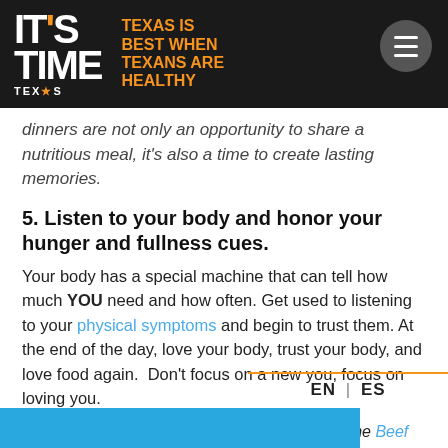IT'S TIME TEXAS — TEXAS IS BEST WHEN TEXANS ARE HEALTHY
dinners are not only an opportunity to share a nutritious meal, it's also a time to create lasting memories.
5. Listen to your body and honor your hunger and fullness cues.
Your body has a special machine that can tell how much YOU need and how often. Get used to listening to your physical symptoms and begin to trust them. At the end of the day, love your body, trust your body, and love food again.  Don't focus on a new you, focus on loving you.
A version of this article originally appeared on the Beef Loving Texans Blog.